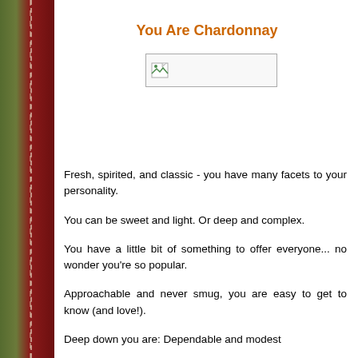You Are Chardonnay
[Figure (other): Broken/missing image placeholder box]
Fresh, spirited, and classic - you have many facets to your personality.
You can be sweet and light. Or deep and complex.
You have a little bit of something to offer everyone... no wonder you're so popular.
Approachable and never smug, you are easy to get to know (and love!).
Deep down you are: Dependable and modest
Your partying style: Understated and polite